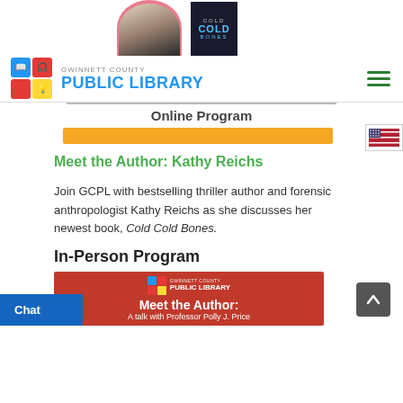[Figure (photo): Top portion showing author photo in circular crop and book cover for Cold Cold Bones]
Gwinnett County Public Library navigation bar with logo and hamburger menu
Online Program
[Figure (other): Orange decorative bar]
Meet the Author: Kathy Reichs
Join GCPL with bestselling thriller author and forensic anthropologist Kathy Reichs as she discusses her newest book, Cold Cold Bones.
In-Person Program
[Figure (other): Red banner with Gwinnett County Public Library logo and text: Meet the Author: A talk with Professor Polly J. Price]